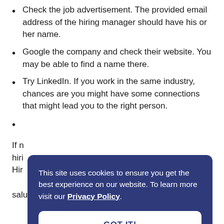Check the job advertisement. The provided email address of the hiring manager should have his or her name.
Google the company and check their website. You may be able to find a name there.
Try LinkedIn. If you work in the same industry, chances are you might have some connections that might lead you to the right person.
(partially obscured)
If n[obscured] hir[obscured] Hir[obscured] salutation, but it's good enough.
This site uses cookies to ensure you get the best experience on our website. To learn more visit our Privacy Policy.
GOT IT!